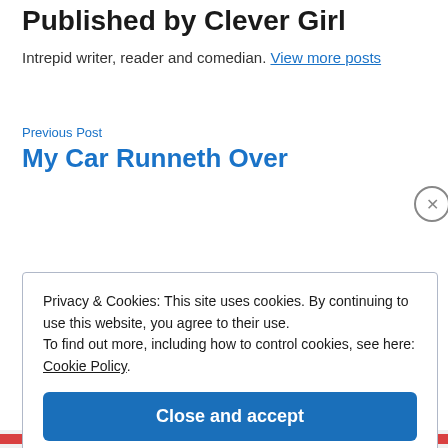Published by Clever Girl
Intrepid writer, reader and comedian. View more posts
Previous Post
My Car Runneth Over
Privacy & Cookies: This site uses cookies. By continuing to use this website, you agree to their use.
To find out more, including how to control cookies, see here: Cookie Policy
Close and accept